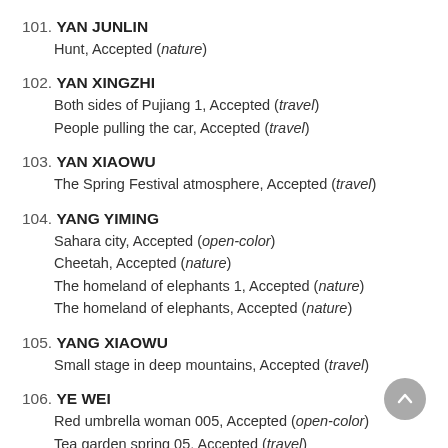101. YAN JUNLIN
    Hunt, Accepted (nature)
102. YAN XINGZHI
    Both sides of Pujiang 1, Accepted (travel)
    People pulling the car, Accepted (travel)
103. YAN XIAOWU
    The Spring Festival atmosphere, Accepted (travel)
104. YANG YIMING
    Sahara city, Accepted (open-color)
    Cheetah, Accepted (nature)
    The homeland of elephants 1, Accepted (nature)
    The homeland of elephants, Accepted (nature)
105. YANG XIAOWU
    Small stage in deep mountains, Accepted (travel)
106. YE WEI
    Red umbrella woman 005, Accepted (open-color)
    Tea garden spring 05, Accepted (travel)
    House of lovers, Accepted (open-monochrome)